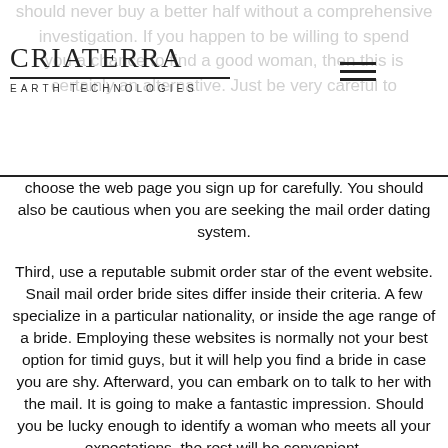CRIATERRA EARTH TECHNOLOGIES
should never buy a better half without a comprehensive investigation. If you happen to be willing to spend you a chance to find a good woman, then this is certainly an alternative. Just be very careful to choose the web page you sign up for carefully. You should also be cautious when you are seeking the mail order dating system.
Third, use a reputable submit order star of the event website. Snail mail order bride sites differ inside their criteria. A few specialize in a particular nationality, or inside the age range of a bride. Employing these websites is normally not your best option for timid guys, but it will help you find a bride in case you are shy. Afterward, you can embark on to talk to her with the mail. It is going to make a fantastic impression. Should you be lucky enough to identify a woman who meets all your expectations, the rest will be convenient.
Mail order bride sites offer a diverse selection of females